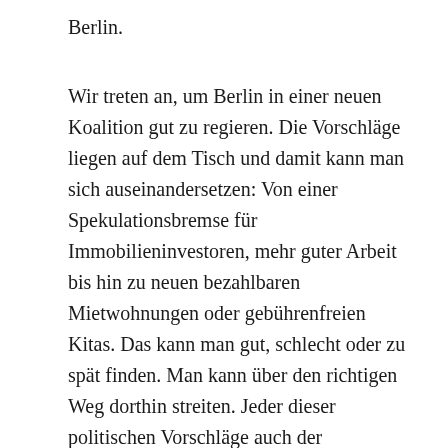Berlin.
Wir treten an, um Berlin in einer neuen Koalition gut zu regieren. Die Vorschläge liegen auf dem Tisch und damit kann man sich auseinandersetzen: Von einer Spekulationsbremse für Immobilieninvestoren, mehr guter Arbeit bis hin zu neuen bezahlbaren Mietwohnungen oder gebührenfreien Kitas. Das kann man gut, schlecht oder zu spät finden. Man kann über den richtigen Weg dorthin streiten. Jeder dieser politischen Vorschläge auch der Konkurrenz im Abgeordnetenhaus bringt Berlin mehr voran als die dummen, ausgrenzenden Parolen.